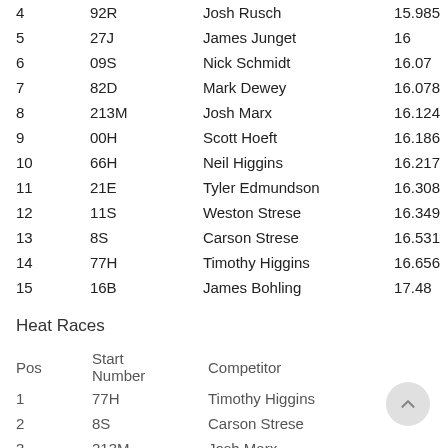|  |  | Competitor |  |
| --- | --- | --- | --- |
| 4 | 92R | Josh Rusch | 15.985 |
| 5 | 27J | James Junget | 16 |
| 6 | 09S | Nick Schmidt | 16.07 |
| 7 | 82D | Mark Dewey | 16.078 |
| 8 | 213M | Josh Marx | 16.124 |
| 9 | 00H | Scott Hoeft | 16.186 |
| 10 | 66H | Neil Higgins | 16.217 |
| 11 | 21E | Tyler Edmundson | 16.308 |
| 12 | 11S | Weston Strese | 16.349 |
| 13 | 8S | Carson Strese | 16.531 |
| 14 | 77H | Timothy Higgins | 16.656 |
| 15 | 16B | James Bohling | 17.48 |
Heat Races
| Pos | Start Number | Competitor |
| --- | --- | --- |
| 1 | 77H | Timothy Higgins |
| 2 | 8S | Carson Strese |
| 3 | 213M | Josh Marx |
| 4 | 66H | Neil Higgins |